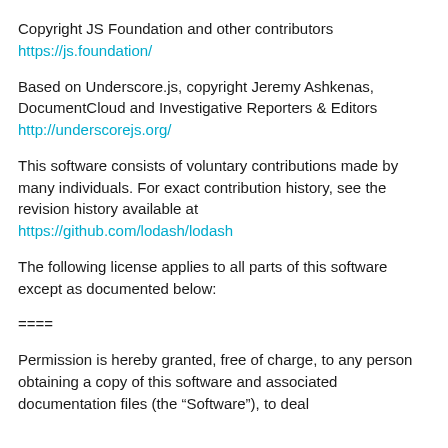Copyright JS Foundation and other contributors
https://js.foundation/
Based on Underscore.js, copyright Jeremy Ashkenas, DocumentCloud and Investigative Reporters & Editors
http://underscorejs.org/
This software consists of voluntary contributions made by many individuals. For exact contribution history, see the revision history available at
https://github.com/lodash/lodash
The following license applies to all parts of this software except as documented below:
====
Permission is hereby granted, free of charge, to any person obtaining a copy of this software and associated documentation files (the “Software”), to deal